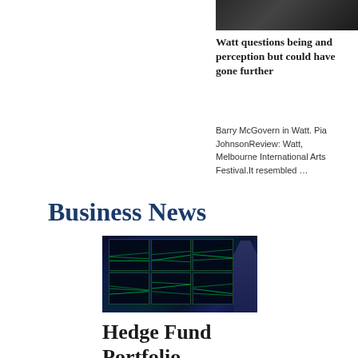[Figure (photo): Partial top image, dark/black, cropped at top of page]
Watt questions being and perception but could have gone further
Barry McGovern in Watt. Pia JohnsonReview: Watt, Melbourne International Arts Festival.It resembled …
Business News
[Figure (photo): A person viewed from behind looking at multiple trading monitor screens displaying green financial charts and data in a dark room]
Hedge Fund Portfolio